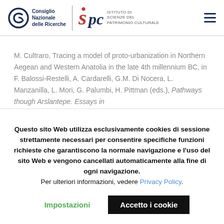[Figure (logo): CNR Consiglio Nazionale delle Ricerche logo and ISPC Istituto di Scienze del Patrimonio Culturale logo with hamburger menu icon]
M. Cultraro, Tracing a model of proto-urbanization in Northern Aegean and Western Anatolia in the late 4th millennium BC, in F. Balossi-Restelli, A. Cardarelli, G.M. Di Nocera, L. Manzanilla, L. Mori, G. Palumbi, H. Pittman (eds.), Pathways though Arslantepe. Essays in
Questo sito Web utilizza esclusivamente cookies di sessione strettamente necessari per consentire specifiche funzioni richieste che garantiscono la normale navigazione e l'uso del sito Web e vengono cancellati automaticamente alla fine di ogni navigazione.
Per ulteriori informazioni, vedere Privacy Policy.
Impostazioni
Accetto i cookie